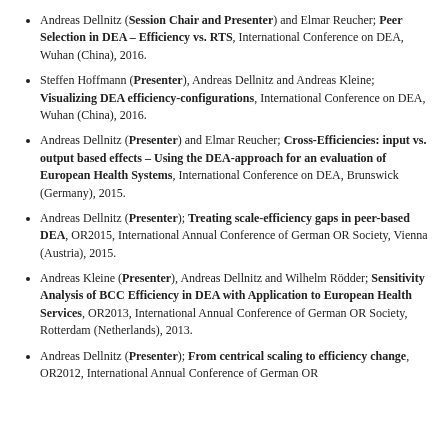Andreas Dellnitz (Session Chair and Presenter) and Elmar Reucher; Peer Selection in DEA – Efficiency vs. RTS, International Conference on DEA, Wuhan (China), 2016.
Steffen Hoffmann (Presenter), Andreas Dellnitz and Andreas Kleine; Visualizing DEA efficiency-configurations, International Conference on DEA, Wuhan (China), 2016.
Andreas Dellnitz (Presenter) and Elmar Reucher; Cross-Efficiencies: input vs. output based effects – Using the DEA-approach for an evaluation of European Health Systems, International Conference on DEA, Brunswick (Germany), 2015.
Andreas Dellnitz (Presenter); Treating scale-efficiency gaps in peer-based DEA, OR2015, International Annual Conference of German OR Society, Vienna (Austria), 2015.
Andreas Kleine (Presenter), Andreas Dellnitz and Wilhelm Rödder; Sensitivity Analysis of BCC Efficiency in DEA with Application to European Health Services, OR2013, International Annual Conference of German OR Society, Rotterdam (Netherlands), 2013.
Andreas Dellnitz (Presenter); From centrical scaling to efficiency change, OR2012, International Annual Conference of German OR